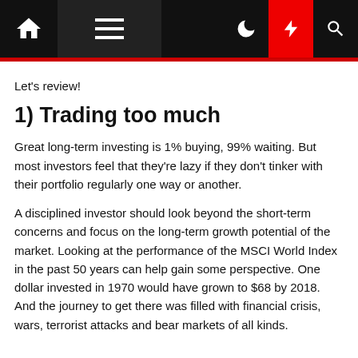Navigation bar with home, menu, moon, lightning, and search icons
Let's review!
1) Trading too much
Great long-term investing is 1% buying, 99% waiting. But most investors feel that they're lazy if they don't tinker with their portfolio regularly one way or another.
A disciplined investor should look beyond the short-term concerns and focus on the long-term growth potential of the market. Looking at the performance of the MSCI World Index in the past 50 years can help gain some perspective. One dollar invested in 1970 would have grown to $68 by 2018. And the journey to get there was filled with financial crisis, wars, terrorist attacks and bear markets of all kinds.